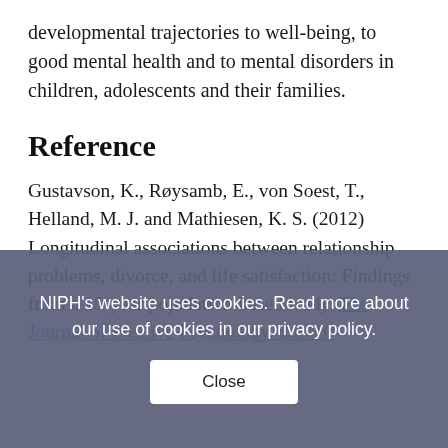developmental trajectories to well-being, to good mental health and to mental disorders in children, adolescents and their families.
Reference
Gustavson, K., Røysamb, E., von Soest, T., Helland, M. J. and Mathiesen, K. S. (2012) Longitudinal associations between relationship problems, divorce, and life satisfaction: Findings from a 15-year population-based study. The Journal of Positive Psychology. doi: 10...
NIPH's website uses cookies. Read more about our use of cookies in our privacy policy.